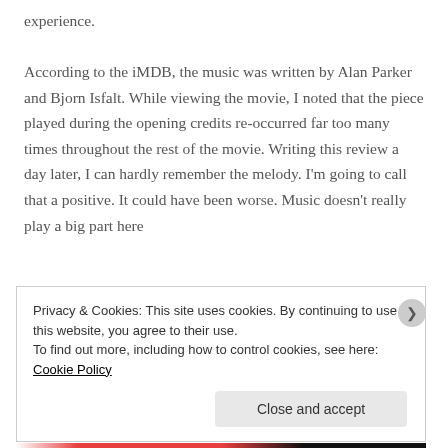experience. According to the iMDB, the music was written by Alan Parker and Bjorn Isfalt. While viewing the movie, I noted that the piece played during the opening credits re-occurred far too many times throughout the rest of the movie. Writing this review a day later, I can hardly remember the melody. I'm going to call that a positive. It could have been worse. Music doesn't really play a big part here
Privacy & Cookies: This site uses cookies. By continuing to use this website, you agree to their use. To find out more, including how to control cookies, see here: Cookie Policy